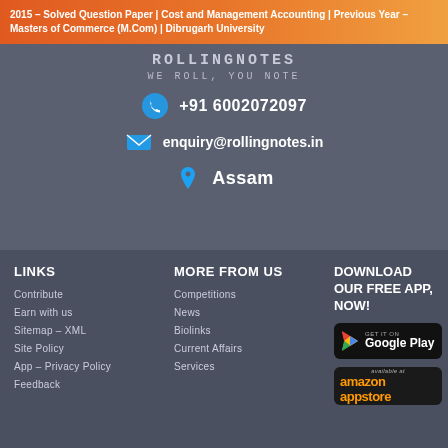2015 – Solved Question Paper | Cost and Management Accounting | Previous Year – Masters of Commerce (M.Com) | Dibrugarh University
[Figure (logo): RollingNotes logo with tagline WE ROLL, YOU NOTE]
+91 6002072097
enquiry@rollingnotes.in
Assam
LINKS
Contribute
Earn with us
Sitemap – XML
Site Policy
App – Privacy Policy
Feedback
MORE FROM US
Competitions
News
Biolinks
Current Affairs
Services
DOWNLOAD OUR FREE APP, NOW!
[Figure (logo): Google Play badge]
[Figure (logo): Amazon Appstore badge]